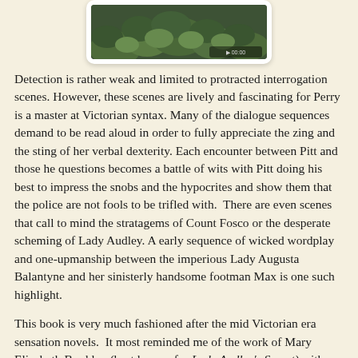[Figure (photo): Partial view of a book cover showing green foliage/leaves against a dark background, displayed in a white rounded card frame]
Detection is rather weak and limited to protracted interrogation scenes. However, these scenes are lively and fascinating for Perry is a master at Victorian syntax. Many of the dialogue sequences demand to be read aloud in order to fully appreciate the zing and the sting of her verbal dexterity. Each encounter between Pitt and those he questions becomes a battle of wits with Pitt doing his best to impress the snobs and the hypocrites and show them that the police are not fools to be trifled with.  There are even scenes that call to mind the stratagems of Count Fosco or the desperate scheming of Lady Audley. A early sequence of wicked wordplay and one-upmanship between the imperious Lady Augusta Balantyne and her sinisterly handsome footman Max is one such highlight.
This book is very much fashioned after the mid Victorian era sensation novels.  It most reminded me of the work of Mary Elizabeth Braddon (best known for Lady Audley's Secret) with nearly every character plotting and scheming to protect or achieve their own interests.  Blackmail turns out to be a